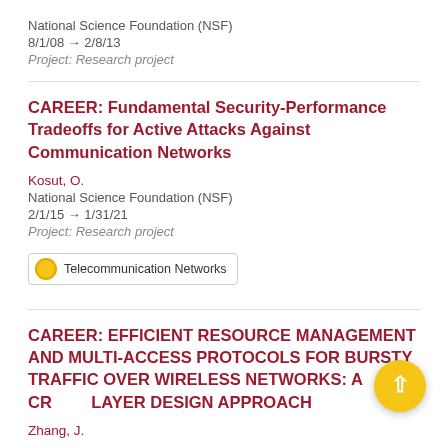National Science Foundation (NSF)
8/1/08 → 2/8/13
Project: Research project
CAREER: Fundamental Security-Performance Tradeoffs for Active Attacks Against Communication Networks
Kosut, O.
National Science Foundation (NSF)
2/1/15 → 1/31/21
Project: Research project
Telecommunication Networks
CAREER: EFFICIENT RESOURCE MANAGEMENT AND MULTI-ACCESS PROTOCOLS FOR BURSTY TRAFFIC OVER WIRELESS NETWORKS: A CROSS LAYER DESIGN APPROACH
Zhang, J.